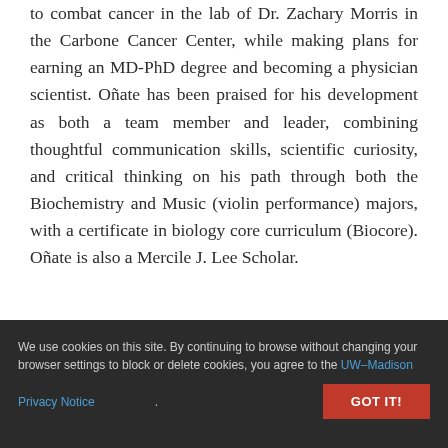to combat cancer in the lab of Dr. Zachary Morris in the Carbone Cancer Center, while making plans for earning an MD-PhD degree and becoming a physician scientist. Oñate has been praised for his development as both a team member and leader, combining thoughtful communication skills, scientific curiosity, and critical thinking on his path through both the Biochemistry and Music (violin performance) majors, with a certificate in biology core curriculum (Biocore). Oñate is also a Mercile J. Lee Scholar.
We use cookies on this site. By continuing to browse without changing your browser settings to block or delete cookies, you agree to the UW–Madison Privacy Notice.